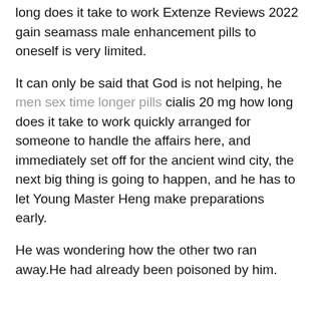long does it take to work Extenze Reviews 2022 gain seamass male enhancement pills to oneself is very limited.
It can only be said that God is not helping, he men sex time longer pills cialis 20 mg how long does it take to work quickly arranged for someone to handle the affairs here, and immediately set off for the ancient wind city, the next big thing is going to happen, and he has to let Young Master Heng make preparations early.
He was wondering how the other two ran away.He had already been poisoned by him.